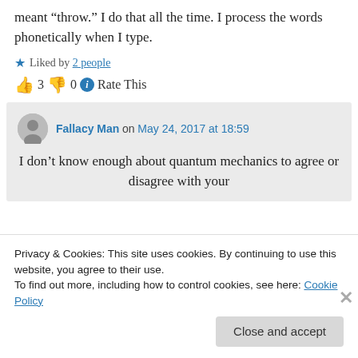meant “throw.” I do that all the time. I process the words phonetically when I type.
★ Liked by 2 people
👍 3 👎 0 ⓘ Rate This
Fallacy Man on May 24, 2017 at 18:59
I don’t know enough about quantum mechanics to agree or disagree with your
Privacy & Cookies: This site uses cookies. By continuing to use this website, you agree to their use.
To find out more, including how to control cookies, see here: Cookie Policy
Close and accept